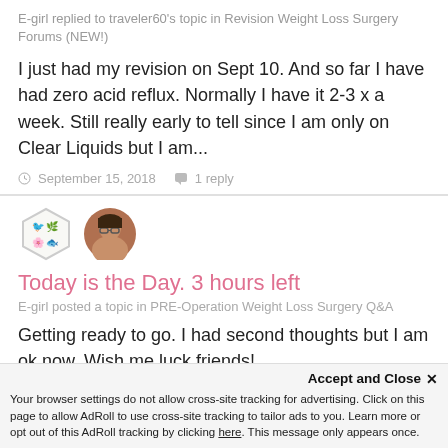E-girl replied to traveler60's topic in Revision Weight Loss Surgery Forums (NEW!)
I just had my revision on Sept 10. And so far I have had zero acid reflux. Normally I have it 2-3 x a week. Still really early to tell since I am only on Clear Liquids but I am...
September 15, 2018   1 reply
[Figure (photo): Hexagon badge icon and circular profile photo of a woman with glasses]
Today is the Day. 3 hours left
E-girl posted a topic in PRE-Operation Weight Loss Surgery Q&A
Getting ready to go. I had second thoughts but I am ok now. Wish me luck friends!
Accept and Close ✕
Your browser settings do not allow cross-site tracking for advertising. Click on this page to allow AdRoll to use cross-site tracking to tailor ads to you. Learn more or opt out of this AdRoll tracking by clicking here. This message only appears once.